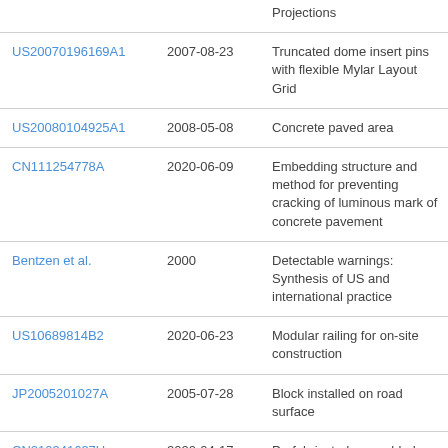| Reference | Date | Title |
| --- | --- | --- |
|  |  | Projections |
| US20070196169A1 | 2007-08-23 | Truncated dome insert pins with flexible Mylar Layout Grid |
| US20080104925A1 | 2008-05-08 | Concrete paved area |
| CN111254778A | 2020-06-09 | Embedding structure and method for preventing cracking of luminous mark of concrete pavement |
| Bentzen et al. | 2000 | Detectable warnings: Synthesis of US and international practice |
| US10689814B2 | 2020-06-23 | Modular railing for on-site construction |
| JP2005201027A | 2005-07-28 | Block installed on road surface |
| CN210341637U | 2020-04-17 | Prefabricated assembled bridge anticollision barrier |